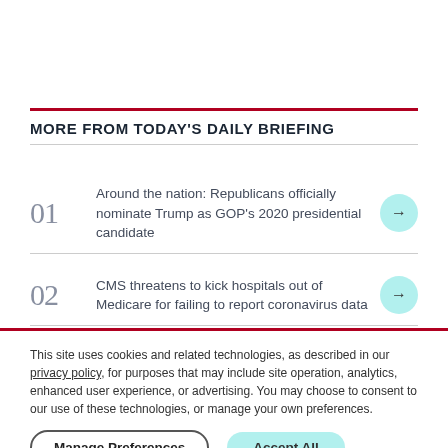MORE FROM TODAY'S DAILY BRIEFING
01 Around the nation: Republicans officially nominate Trump as GOP's 2020 presidential candidate
02 CMS threatens to kick hospitals out of Medicare for failing to report coronavirus data
This site uses cookies and related technologies, as described in our privacy policy, for purposes that may include site operation, analytics, enhanced user experience, or advertising. You may choose to consent to our use of these technologies, or manage your own preferences.
Manage Preferences | Accept All